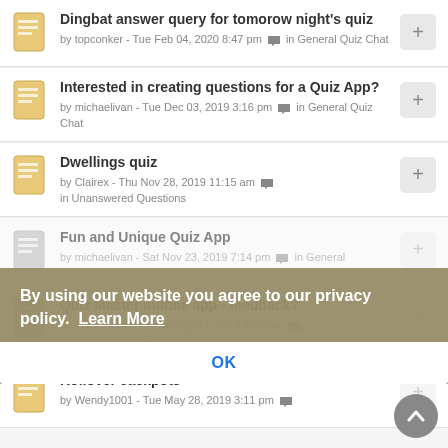Dingbat answer query for tomorow night's quiz
by topconker - Tue Feb 04, 2020 8:47 pm in General Quiz Chat
Interested in creating questions for a Quiz App?
by michaelivan - Tue Dec 03, 2019 3:16 pm in General Quiz Chat
Dwellings quiz
by Clairex - Thu Nov 28, 2019 11:15 am in Unanswered Questions
Fun and Unique Quiz App
by michaelivan - Sat Nov 23, 2019 7:14 pm in General Q
Quiz Master mobile app - feedback?
by Theo Sanders - Thu Sep 12, 2019 4:39 am in Running Quizzes
Rollover Jackpots
by Wendy1001 - Tue May 28, 2019 3:11 pm
By using our website you agree to our privacy policy. Learn More
OK